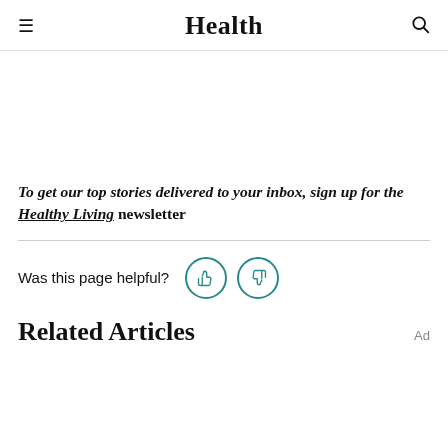Health
To get our top stories delivered to your inbox, sign up for the Healthy Living newsletter
Was this page helpful?
Related Articles